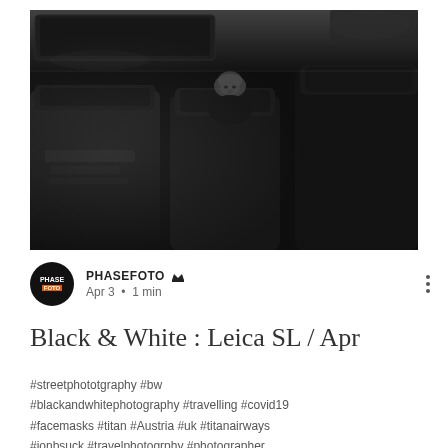[Figure (photo): Black and white photograph taken inside an airplane cabin. Dark moody image showing rows of headrests/seats, with a person's face faintly visible peeking above a seat in the middle of the frame. The scene is dimly lit with a dramatic chiaroscuro effect.]
PHASEFOTO  Apr 3 • 1 min
Black & White : Leica SL / Apr
#streetphototgraphy #bw #blackandwhitephotography #travelling #covid19 #facemasks #titan #Austria #uk #titanairways #ionbsuck #travelphotogrphy #photographer